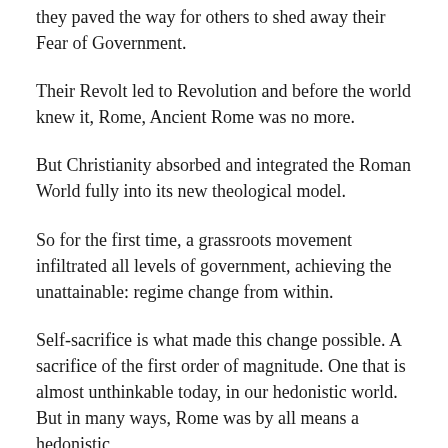they paved the way for others to shed away their Fear of Government.
Their Revolt led to Revolution and before the world knew it, Rome, Ancient Rome was no more.
But Christianity absorbed and integrated the Roman World fully into its new theological model.
So for the first time, a grassroots movement infiltrated all levels of government, achieving the unattainable: regime change from within.
Self-sacrifice is what made this change possible. A sacrifice of the first order of magnitude. One that is almost unthinkable today, in our hedonistic world. But in many ways, Rome was by all means a hedonistic